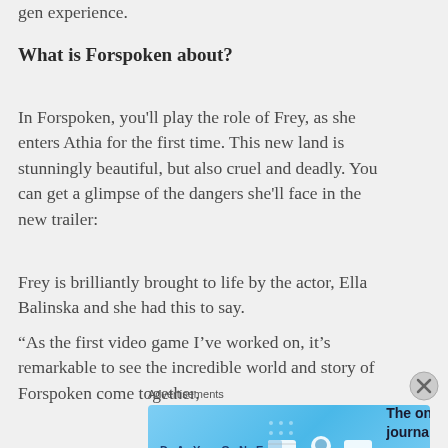gen experience.
What is Forspoken about?
In Forspoken, you'll play the role of Frey, as she enters Athia for the first time. This new land is stunningly beautiful, but also cruel and deadly. You can get a glimpse of the dangers she'll face in the new trailer:
Frey is brilliantly brought to life by the actor, Ella Balinska and she had this to say.
“As the first video game I’ve worked on, it’s remarkable to see the incredible world and story of Forspoken come together,
Advertisements
[Figure (illustration): Day One journaling app advertisement banner with blue background, app icons, and text 'The only journaling app you'll ever need.']